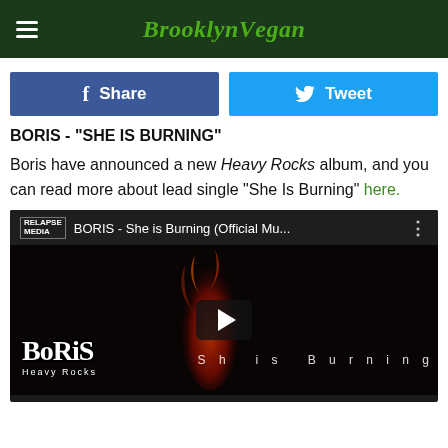BrooklynVegan
Share  Tweet
BORIS - "SHE IS BURNING"
Boris have announced a new Heavy Rocks album, and you can read more about lead single "She Is Burning" here.
[Figure (screenshot): YouTube video embed showing BORIS - She is Burning (Official Mu...) with play button overlay, Boris Heavy Rocks logo on dark background with red flame effect and text 'She is Burning' on right side]